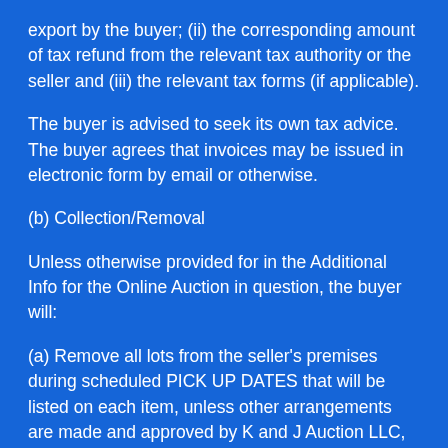export by the buyer; (ii) the corresponding amount of tax refund from the relevant tax authority or the seller and (iii) the relevant tax forms (if applicable).
The buyer is advised to seek its own tax advice. The buyer agrees that invoices may be issued in electronic form by email or otherwise.
(b) Collection/Removal
Unless otherwise provided for in the Additional Info for the Online Auction in question, the buyer will:
(a) Remove all lots from the seller's premises during scheduled PICK UP DATES that will be listed on each item, unless other arrangements are made and approved by K and J Auction LLC, and this condition shall be of the essence of the contract;